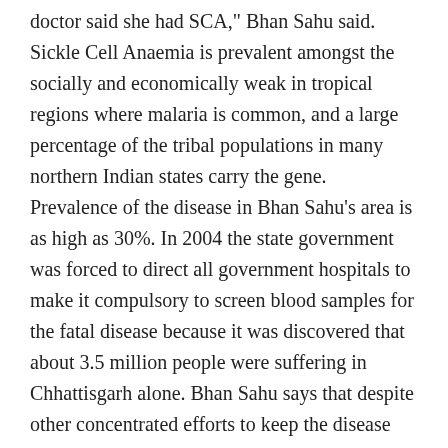doctor said she had SCA," Bhan Sahu said. Sickle Cell Anaemia is prevalent amongst the socially and economically weak in tropical regions where malaria is common, and a large percentage of the tribal populations in many northern Indian states carry the gene. Prevalence of the disease in Bhan Sahu's area is as high as 30%. In 2004 the state government was forced to direct all government hospitals to make it compulsory to screen blood samples for the fatal disease because it was discovered that about 3.5 million people were suffering in Chhattisgarh alone. Bhan Sahu says that despite other concentrated efforts to keep the disease under control, remote rural communities such as those in Rajnangaon are unaware that they are carriers of SCA, and that they can pass it on to their children. "Rani takes medication and she's doing alright now. I don't have SCA but my late husband (he died from a heart attack) might have had it," Bhan Sahu told us. We asked her whether she had